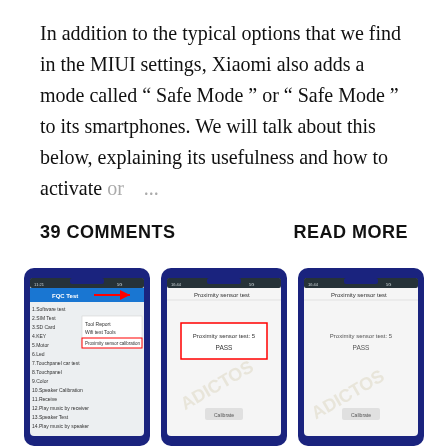In addition to the typical options that we find in the MIUI settings, Xiaomi also adds a mode called " Safe Mode " or " Safe Mode " to its smartphones. We will talk about this below, explaining its usefulness and how to activate or ...
39 COMMENTS
READ MORE
[Figure (screenshot): Three smartphone screenshots showing Proximity sensor calibration steps in MIUI: first phone shows FQC Test menu with Proximity sensor calibration highlighted and a red arrow pointing right; second phone shows Proximity sensor test with 'Proximity sensor test: 5 PASS' in a red box and a Calibrate button; third phone shows the same Proximity sensor test result with Calibrate button, with a watermark overlay.]